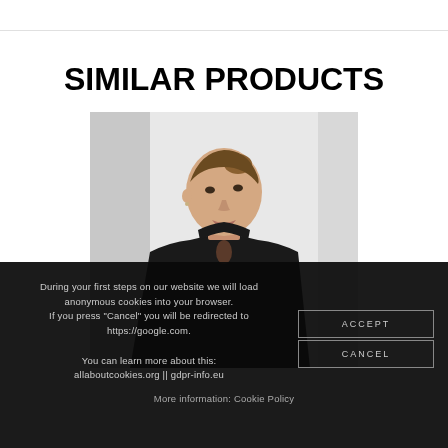SIMILAR PRODUCTS
[Figure (photo): A female model with hair in a bun, wearing a black high-neck top with a keyhole cutout, photographed against a light grey background.]
During your first steps on our website we will load anonymous cookies into your browser.
If you press "Cancel" you will be redirected to https://google.com.

You can learn more about this:
allaboutcookies.org || gdpr-info.eu
ACCEPT
CANCEL
More information: Cookie Policy